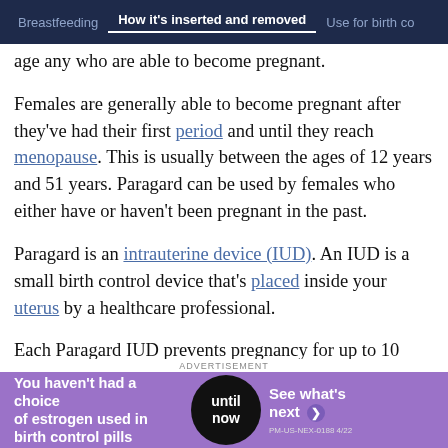Breastfeeding | How it's inserted and removed | Use for birth co
age any who are able to become pregnant.
Females are generally able to become pregnant after they've had their first period and until they reach menopause. This is usually between the ages of 12 years and 51 years. Paragard can be used by females who either have or haven't been pregnant in the past.
Paragard is an intrauterine device (IUD). An IUD is a small birth control device that's placed inside your uterus by a healthcare professional.
Each Paragard IUD prevents pregnancy for up to 10 years after being inserted. Your doctor can remove
[Figure (infographic): Advertisement banner: purple background with text 'You haven't had a choice of estrogen used in birth control pills', a black circle with 'until now', and right side 'See what's next' with arrow. PM-US-NEX-0188 4/22]